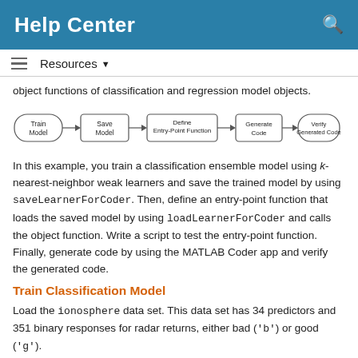Help Center
Resources ▼
object functions of classification and regression model objects.
[Figure (flowchart): Flowchart showing steps: Train Model → Save Model → Define Entry-Point Function → Generate Code → Verify Generated Code]
In this example, you train a classification ensemble model using k-nearest-neighbor weak learners and save the trained model by using saveLearnerForCoder. Then, define an entry-point function that loads the saved model by using loadLearnerForCoder and calls the object function. Write a script to test the entry-point function. Finally, generate code by using the MATLAB Coder app and verify the generated code.
Train Classification Model
Load the ionosphere data set. This data set has 34 predictors and 351 binary responses for radar returns, either bad ('b') or good ('g').
load ionosphere